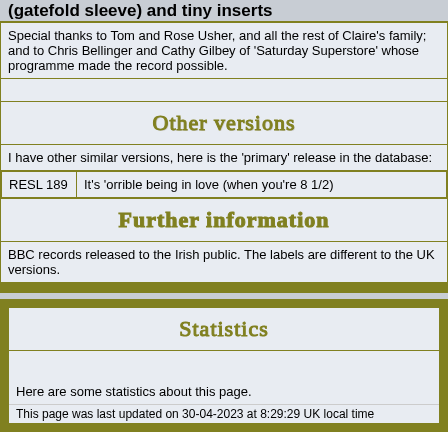Special thanks to Tom and Rose Usher, and all the rest of Claire's family; and to Chris Bellinger and Cathy Gilbey of 'Saturday Superstore' whose programme made the record possible.
Other versions
I have other similar versions, here is the 'primary' release in the database:
| RESL 189 | It's 'orrible being in love (when you're 8 1/2) |
| --- | --- |
Further information
BBC records released to the Irish public. The labels are different to the UK versions.
Statistics
Here are some statistics about this page.
This page was last updated on 30-04-2023 at 8:29:29 UK local time